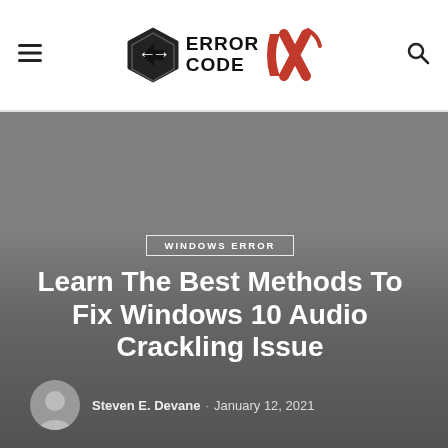Error Code OX — site header with hamburger menu, logo, and search icon
[Figure (screenshot): Hero banner image area with gray background, WINDOWS ERROR category badge, article title 'Learn The Best Methods To Fix Windows 10 Audio Crackling Issue', and author byline 'Steven E. Devane · January 12, 2021']
Learn The Best Methods To Fix Windows 10 Audio Crackling Issue
Steven E. Devane · January 12, 2021